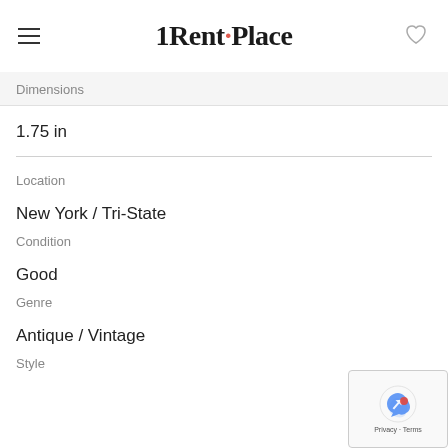1Rent·Place
Dimensions
1.75 in
Location
New York / Tri-State
Condition
Good
Genre
Antique / Vintage
Style